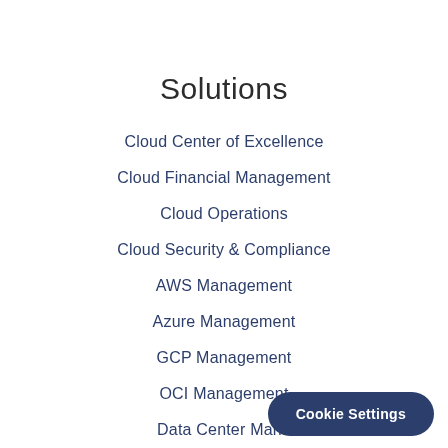Solutions
Cloud Center of Excellence
Cloud Financial Management
Cloud Operations
Cloud Security & Compliance
AWS Management
Azure Management
GCP Management
OCI Management
Data Center Mana...
Cookie Settings